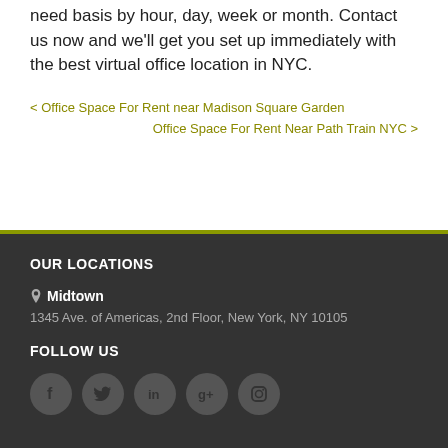need basis by hour, day, week or month. Contact us now and we'll get you set up immediately with the best virtual office location in NYC.
< Office Space For Rent near Madison Square Garden
Office Space For Rent Near Path Train NYC >
OUR LOCATIONS
Midtown
1345 Ave. of Americas, 2nd Floor, New York, NY 10105
FOLLOW US
[Figure (infographic): Five circular social media icons: Facebook, Twitter, LinkedIn, Google+, Instagram]